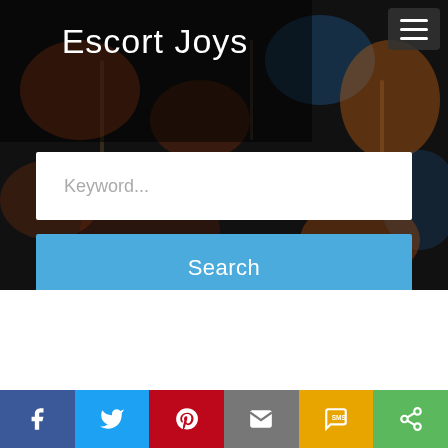Escort Joys
[Figure (screenshot): Blurred city street background with search bar showing 'Keyword...' placeholder and blue 'Search' button]
Tulsa Escorts
[Figure (photo): Partial photo of trees/outdoors scene]
[Figure (infographic): Social sharing bar with Facebook, Twitter, Pinterest, Email, SMS, and Share buttons]